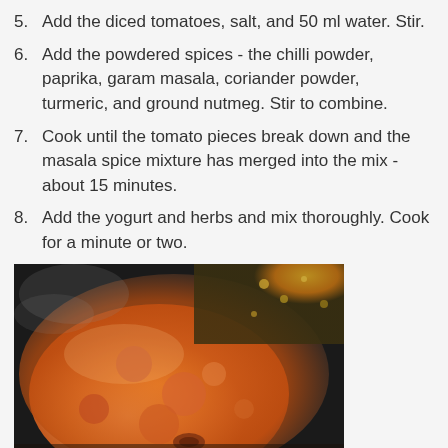5. Add the diced tomatoes, salt, and 50 ml water. Stir.
6. Add the powdered spices - the chilli powder, paprika, garam masala, coriander powder, turmeric, and ground nutmeg. Stir to combine.
7. Cook until the tomato pieces break down and the masala spice mixture has merged into the mix - about 15 minutes.
8. Add the yogurt and herbs and mix thoroughly. Cook for a minute or two.
[Figure (photo): A close-up photo of orange-red curry/masala cooking in a dark pan, with visible tomato pieces and spices merging into the mixture.]